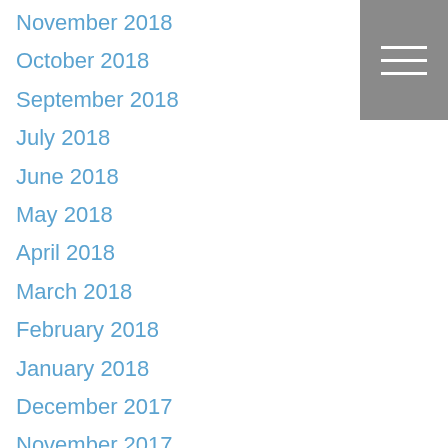November 2018
October 2018
September 2018
July 2018
June 2018
May 2018
April 2018
March 2018
February 2018
January 2018
December 2017
November 2017
October 2017
September 2017
May 2017